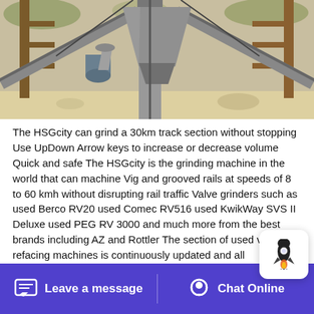[Figure (photo): Industrial mining or rail grinding machinery with conveyor belts, metal scaffolding, and a hopper/funnel structure. Outdoor setting with sandy ground and sparse vegetation in the background.]
The HSGcity can grind a 30km track section without stopping Use UpDown Arrow keys to increase or decrease volume Quick and safe The HSGcity is the grinding machine in the world that can machine Vig and grooved rails at speeds of 8 to 60 kmh without disrupting rail traffic Valve grinders such as used Berco RV20 used Comec RV516 used KwikWay SVS II Deluxe used PEG RV 3000 and much more from the best brands including AZ and Rottler The section of used valve refacing machines is continuously updated and all
Leave a message   Chat Online